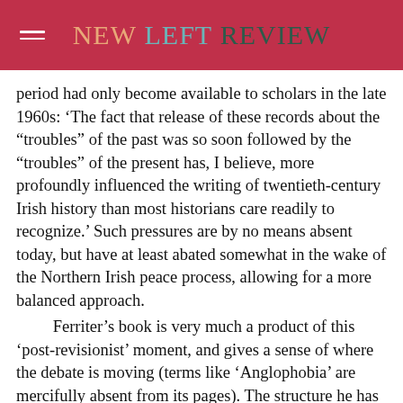New Left Review
period had only become available to scholars in the late 1960s: ‘The fact that release of these records about the “troubles” of the past was so soon followed by the “troubles” of the present has, I believe, more profoundly influenced the writing of twentieth-century Irish history than most historians care readily to recognize.’ Such pressures are by no means absent today, but have at least abated somewhat in the wake of the Northern Irish peace process, allowing for a more balanced approach.
Ferriter’s book is very much a product of this ‘post-revisionist’ moment, and gives a sense of where the debate is moving (terms like ‘Anglophobia’ are mercifully absent from its pages). The structure he has